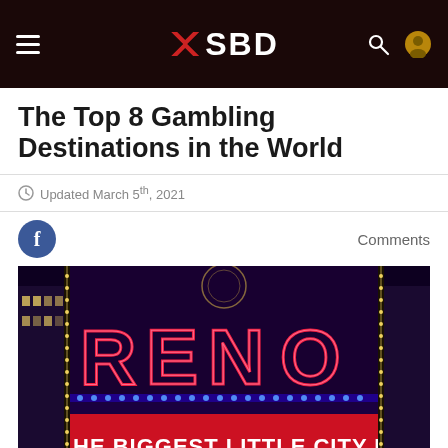SBD
The Top 8 Gambling Destinations in the World
Updated March 5th, 2021
Comments
[Figure (photo): Reno neon sign lit up at night reading RENO with a banner below reading THE BIGGEST LITTLE CITY IN THE WORLD, surrounded by colorful neon lights on a building facade.]